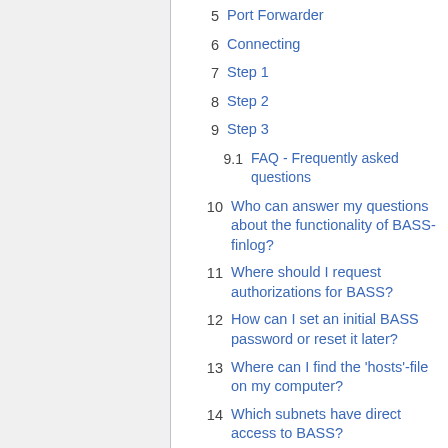5 Port Forwarder
6 Connecting
7 Step 1
8 Step 2
9 Step 3
9.1 FAQ - Frequently asked questions
10 Who can answer my questions about the functionality of BASS-finlog?
11 Where should I request authorizations for BASS?
12 How can I set an initial BASS password or reset it later?
13 Where can I find the 'hosts'-file on my computer?
14 Which subnets have direct access to BASS?
15 I can't manage to get BASS running on my PC, are there any